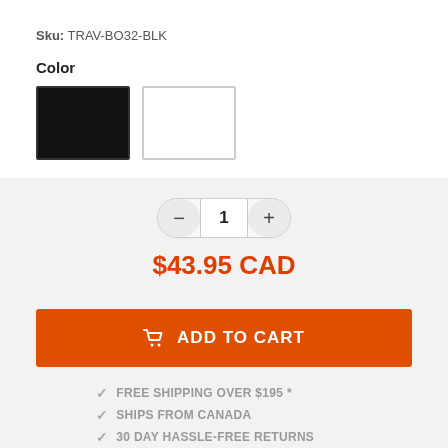Sku: TRAV-BO32-BLK
Color
[Figure (other): Two color swatches: black and white rectangles for product color selection]
$43.95 CAD
ADD TO CART
FREE SHIPPING OVER $195 *
SHIPS FROM CANADA
30 DAY HASSLE-FREE RETURNS